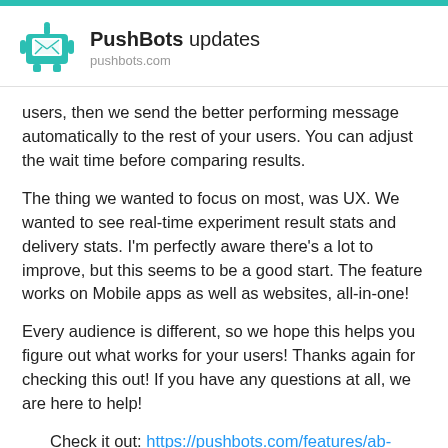PushBots updates
pushbots.com
users, then we send the better performing message automatically to the rest of your users. You can adjust the wait time before comparing results.
The thing we wanted to focus on most, was UX. We wanted to see real-time experiment result stats and delivery stats. I'm perfectly aware there's a lot to improve, but this seems to be a good start. The feature works on Mobile apps as well as websites, all-in-one!
Every audience is different, so we hope this helps you figure out what works for your users! Thanks again for checking this out! If you have any questions at all, we are here to help!
Check it out: https://pushbots.com/features/ab-testing